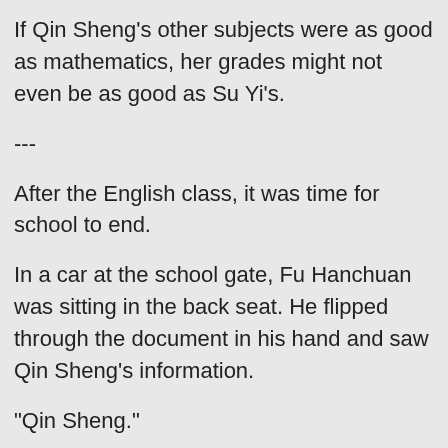If Qin Sheng's other subjects were as good as mathematics, her grades might not even be as good as Su Yi's.
---
After the English class, it was time for school to end.
In a car at the school gate, Fu Hanchuan was sitting in the back seat. He flipped through the document in his hand and saw Qin Sheng's information.
"Qin Sheng."